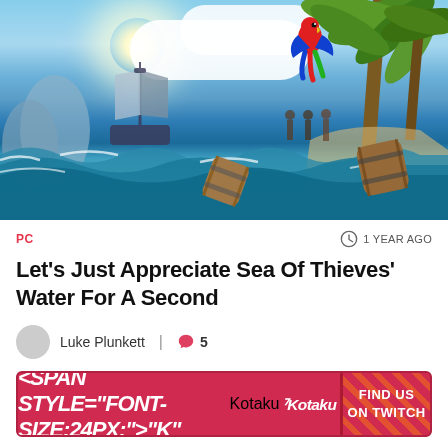[Figure (screenshot): Sea of Thieves game screenshot showing ocean waves with barrels floating, a sailing ship in the background, tropical island with palm trees on the right, a colorful parrot flying in the upper right, bright sun and clouds in the blue sky]
PC
1 YEAR AGO
Let’s Just Appreciate Sea Of Thieves’ Water For A Second
Luke Plunkett | 5
[Figure (logo): Kotaku banner advertisement with Kotaku logo on the left and FIND US ON TWITCH text on the right with diagonal stripe pattern]